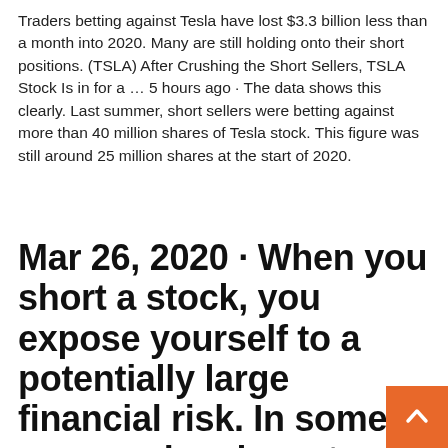Traders betting against Tesla have lost $3.3 billion less than a month into 2020. Many are still holding onto their short positions. (TSLA) After Crushing the Short Sellers, TSLA Stock Is in for a … 5 hours ago · The data shows this clearly. Last summer, short sellers were betting against more than 40 million shares of Tesla stock. This figure was still around 25 million shares at the start of 2020.
Mar 26, 2020 · When you short a stock, you expose yourself to a potentially large financial risk. In some cases, when investors and traders see that a stock has a large